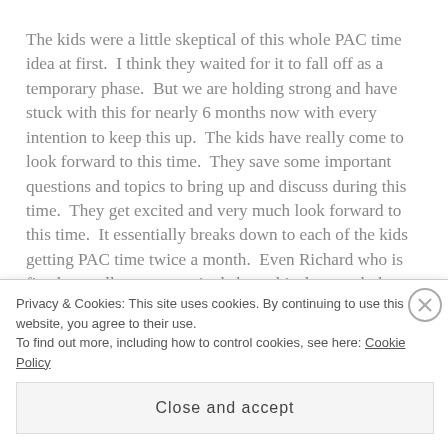The kids were a little skeptical of this whole PAC time idea at first.  I think they waited for it to fall off as a temporary phase.  But we are holding strong and have stuck with this for nearly 6 months now with every intention to keep this up.  The kids have really come to look forward to this time.  They save some important questions and topics to bring up and discuss during this time.  They get excited and very much look forward to this time.  It essentially breaks down to each of the kids getting PAC time twice a month.  Even Richard who is five has really gotten excited about this, last week the first thing he said Thursday morning was" "yes PAC time
Privacy & Cookies: This site uses cookies. By continuing to use this website, you agree to their use.
To find out more, including how to control cookies, see here: Cookie Policy
Close and accept